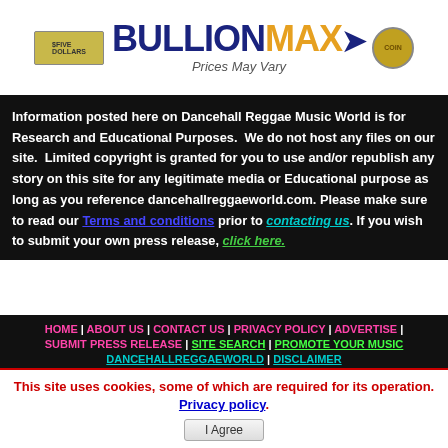[Figure (logo): BullionMax advertisement banner with bill image on the left, BullionMax logo in blue and gold with arrow, tagline 'Prices May Vary', and coin image on the right]
Information posted here on Dancehall Reggae Music World is for Research and Educational Purposes. We do not host any files on our site. Limited copyright is granted for you to use and/or republish any story on this site for any legitimate media or Educational purpose as long as you reference dancehallreggaeworld.com. Please make sure to read our Terms and conditions prior to contacting us. If you wish to submit your own press release, click here.
HOME | ABOUT US | CONTACT US | PRIVACY POLICY | ADVERTISE | SUBMIT PRESS RELEASE | SITE SEARCH | PROMOTE YOUR MUSIC DANCEHALLREGGAEWORLD | DISCLAIMER
This site uses cookies, some of which are required for its operation. Privacy policy. I Agree